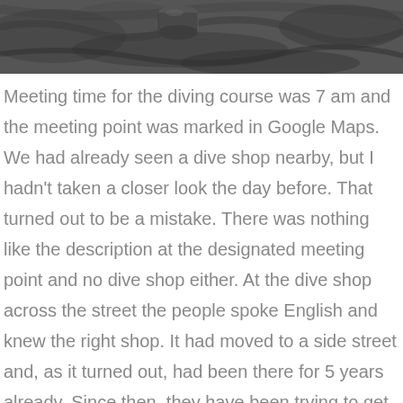[Figure (photo): A dark textured surface (ground or rocky terrain) photographed from above, with what appears to be a cylindrical metal object visible in the upper portion of the image.]
Meeting time for the diving course was 7 am and the meeting point was marked in Google Maps. We had already seen a dive shop nearby, but I hadn't taken a closer look the day before. That turned out to be a mistake. There was nothing like the description at the designated meeting point and no dive shop either. At the dive shop across the street the people spoke English and knew the right shop. It had moved to a side street and, as it turned out, had been there for 5 years already. Since then, they have been trying to get the last of their internet agents to update their address. Typically, that was the one I ended up booking with! On the second attempt we found the dive shop in the end. I was the only participant as a beginner